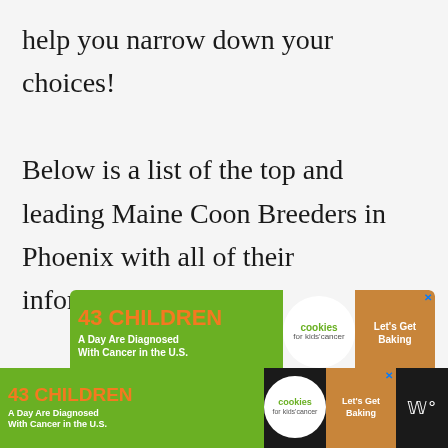help you narrow down your choices!
Below is a list of the top and leading Maine Coon Breeders in Phoenix with all of their information.
[Figure (infographic): Advertisement banner: '43 CHILDREN A Day Are Diagnosed With Cancer in the U.S.' with cookies for kids' cancer logo and 'Let's Get Baking' text on a cookie-shaped graphic. Green and orange color scheme.]
[Figure (infographic): Scroll-to-top button: purple square with a white caret/arrow pointing up.]
[Figure (infographic): Bottom bar advertisement: '43 CHILDREN A Day Are Diagnosed With Cancer in the U.S.' cookies for kids' cancer on dark background with additional icon on the right.]